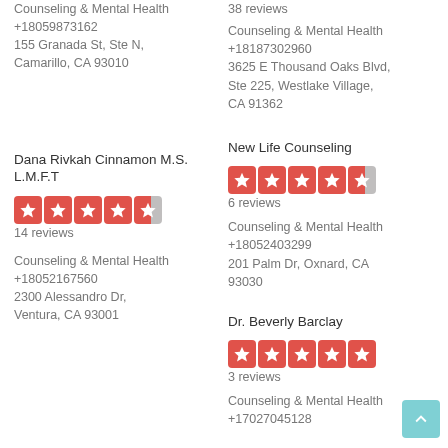Counseling & Mental Health
+18059873162
155 Granada St, Ste N, Camarillo, CA 93010
38 reviews
Counseling & Mental Health
+18187302960
3625 E Thousand Oaks Blvd, Ste 225, Westlake Village, CA 91362
Dana Rivkah Cinnamon M.S. L.M.F.T
[Figure (other): 4.5 star rating (red stars)]
14 reviews
Counseling & Mental Health
+18052167560
2300 Alessandro Dr, Ventura, CA 93001
New Life Counseling
[Figure (other): 4.5 star rating (red stars with half star)]
6 reviews
Counseling & Mental Health
+18052403299
201 Palm Dr, Oxnard, CA 93030
Dr. Beverly Barclay
[Figure (other): 5 star rating (all red stars)]
3 reviews
Counseling & Mental Health
+17027045128